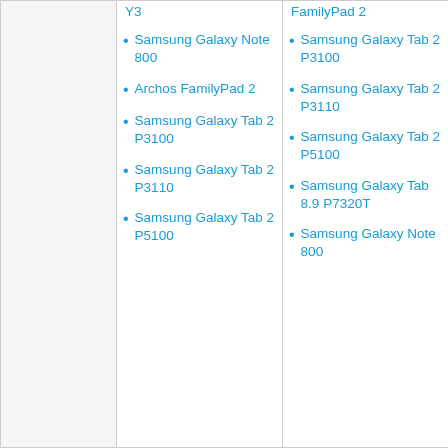Y3
FamilyPad 2
Samsung Galaxy Note 800
Samsung Galaxy Tab 2 P3100
Archos FamilyPad 2
Samsung Galaxy Tab 2 P3110
Samsung Galaxy Tab 2 P3100
Samsung Galaxy Tab 2 P5100
Samsung Galaxy Tab 2 P3110
Samsung Galaxy Tab 8.9 P7320T
Samsung Galaxy Tab 2 P5100
Samsung Galaxy Note 800